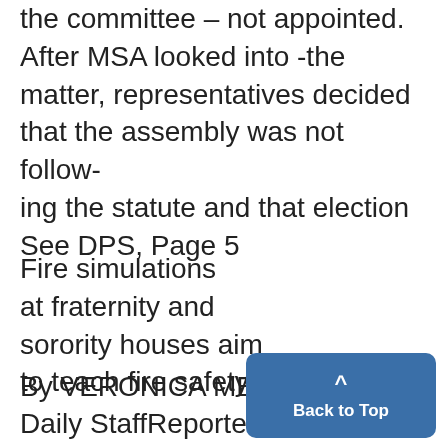the committee – not appointed. After MSA looked into -the matter, representatives decided that the assembly was not follow-ing the statute and that election See DPS, Page 5
Fire simulations at fraternity and sorority houses aim to teach fire safety
By VERONICA MENALDI
Daily StaffReporter
Members of some fraternities